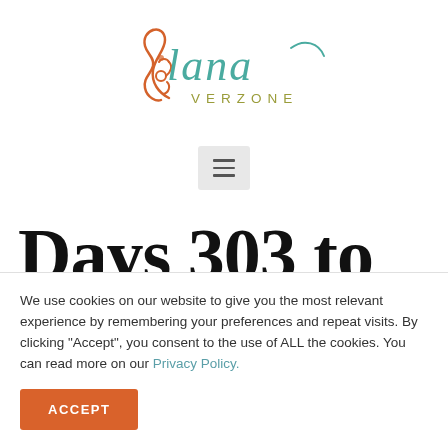[Figure (logo): Lana Verzone logo with orange Om symbol and teal/olive script text]
[Figure (other): Hamburger menu button (three horizontal lines) in a light grey rounded rectangle]
Days 303 to
We use cookies on our website to give you the most relevant experience by remembering your preferences and repeat visits. By clicking “Accept”, you consent to the use of ALL the cookies. You can read more on our Privacy Policy.
ACCEPT